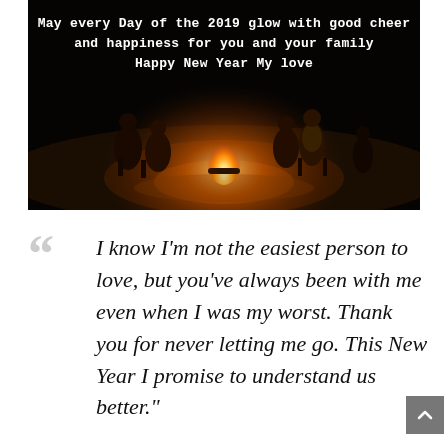[Figure (photo): A dark nighttime photo of a group of people sitting around a glowing campfire outdoors. The fire illuminates the people and the sandy ground. Text overlay reads: 'May every Day of the 2019 glow with good cheer and happiness for you and your family Happy New Year My love']
I know I'm not the easiest person to love, but you've always been with me even when I was my worst. Thank you for never letting me go. This New Year I promise to understand us better."